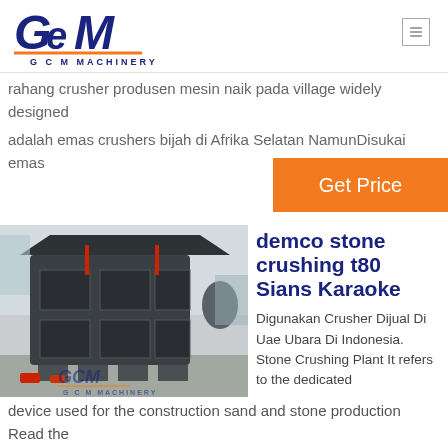[Figure (logo): GCM Machinery logo — dark blue stylized GCM letters with orange underline and GCM MACHINERY text]
rahang crusher produsen mesin naik pada village widely designed
adalah emas crushers bijih di Afrika Selatan NamunDisukai emas
Get Price
[Figure (photo): Large industrial stone crushing machine (impact crusher) in a factory setting, with GCM Machinery watermark logo]
demco stone crushing t80 Sians Karaoke
Digunakan Crusher Dijual Di Uae Ubara Di Indonesia. Stone Crushing Plant It refers to the dedicated
device used for the construction sand and stone production Read the
ost Flotatic Separation Li. It is mainly used to...